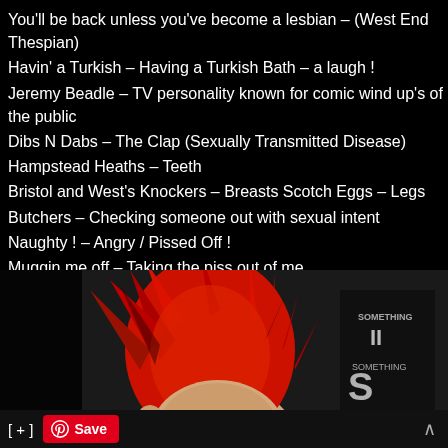You'll be back unless you've become a lesbian – (West End Thespian)
Havin' a Turkish – Having a Turkish Bath – a laugh !
Jeremy Beadle – TV personality known for comic wind up's of the public
Dibs N Dabs – The Clap (Sexually Transmitted Disease)
Hampstead Heaths – Teeth
Bristol and West's Knockers – Breasts Scotch Eggs – Legs
Butchers – Checking someone out with sexual intent
Naughty ! – Angry / Pissed Off !
Muggin me off – Taking the piss out of me.
Dry Slap – Smack / Beating Boat – Boat race – Face.
[Figure (photo): A punk figure with a large red mohawk hairstyle, partially visible, against a dark background. Text overlay appears to read something on the right side.]
[ + ]  Save